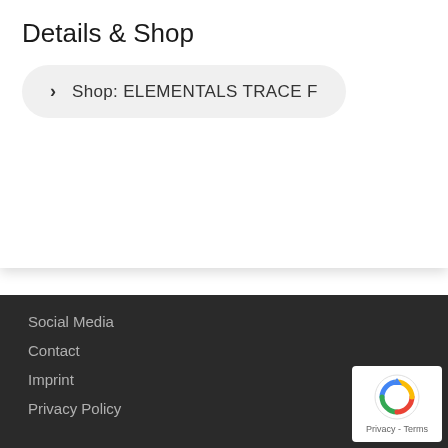Details & Shop
Shop: ELEMENTALS TRACE F
Social Media
Contact
Imprint
Privacy Policy
[Figure (logo): reCAPTCHA badge with rotating arrows icon and Privacy - Terms text]